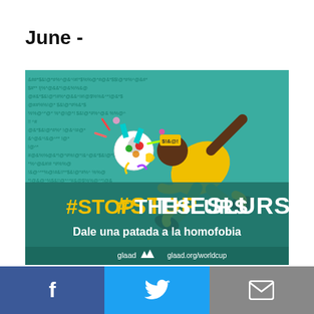June -
[Figure (illustration): Anti-homophobia campaign illustration showing a soccer player in yellow uniform performing a bicycle kick, surrounded by symbols (#!@$%^&*) on a teal background, with text '#STOPTHESLURS' in large yellow and white letters and 'Dale una patada a la homofobia' below. GLAAD logo and glaad.org/worldcup URL visible at bottom.]
f  [Twitter bird]  [Mail icon]